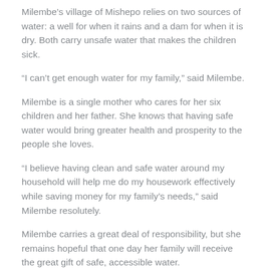Milembe’s village of Mishepo relies on two sources of water: a well for when it rains and a dam for when it is dry. Both carry unsafe water that makes the children sick.
“I can’t get enough water for my family,” said Milembe.
Milembe is a single mother who cares for her six children and her father. She knows that having safe water would bring greater health and prosperity to the people she loves.
“I believe having clean and safe water around my household will help me do my housework effectively while saving money for my family’s needs,” said Milembe resolutely.
Milembe carries a great deal of responsibility, but she remains hopeful that one day her family will receive the great gift of safe, accessible water.
“I have been dreaming that one day all of these water challenges we are facing will come to an end,” Milembe said as a smile spread across her face. “Access to potable and clean water is the only solution to the water